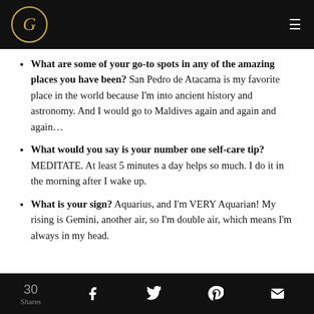G [logo] — navigation bar with hamburger menu
What are some of your go-to spots in any of the amazing places you have been? San Pedro de Atacama is my favorite place in the world because I'm into ancient history and astronomy. And I would go to Maldives again and again and again…
What would you say is your number one self-care tip? MEDITATE. At least 5 minutes a day helps so much. I do it in the morning after I wake up.
What is your sign? Aquarius, and I'm VERY Aquarian! My rising is Gemini, another air, so I'm double air, which means I'm always in my head.
30 Shares  f  [twitter]  [pinterest]  [mail]